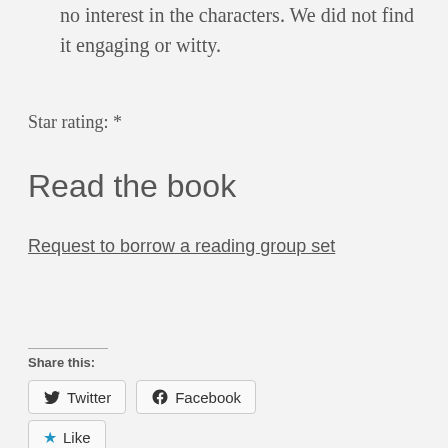no interest in the characters. We did not find it engaging or witty.
Star rating: *
Read the book
Request to borrow a reading group set
Share this:
Twitter
Facebook
Like